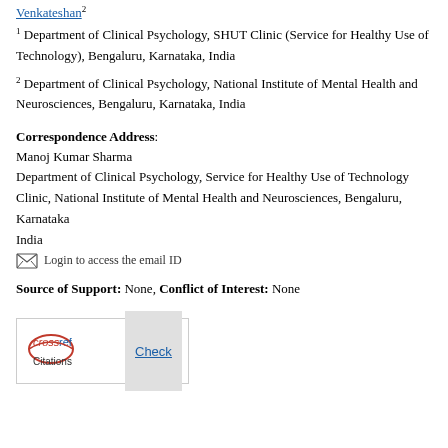Venkateshan²
1 Department of Clinical Psychology, SHUT Clinic (Service for Healthy Use of Technology), Bengaluru, Karnataka, India
2 Department of Clinical Psychology, National Institute of Mental Health and Neurosciences, Bengaluru, Karnataka, India
Correspondence Address:
Manoj Kumar Sharma
Department of Clinical Psychology, Service for Healthy Use of Technology Clinic, National Institute of Mental Health and Neurosciences, Bengaluru, Karnataka
India
Login to access the email ID
Source of Support: None, Conflict of Interest: None
[Figure (logo): CrossRef Citations logo with a Check button]